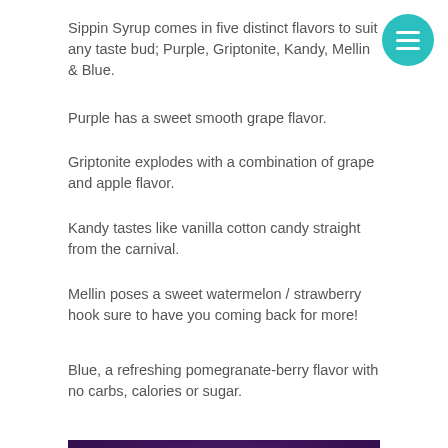Sippin Syrup comes in five distinct flavors to suit any taste bud; Purple, Griptonite, Kandy, Mellin & Blue.
Purple has a sweet smooth grape flavor.
Griptonite explodes with a combination of grape and apple flavor.
Kandy tastes like vanilla cotton candy straight from the carnival.
Mellin poses a sweet watermelon / strawberry hook sure to have you coming back for more!
Blue, a refreshing pomegranate-berry flavor with no carbs, calories or sugar.
[Figure (illustration): Dark purple banner with gold crown icons and text 'KING OF RELAXATION' in large gold/yellow bold letters]